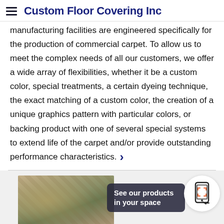Custom Floor Covering Inc
manufacturing facilities are engineered specifically for the production of commercial carpet. To allow us to meet the complex needs of all our customers, we offer a wide array of flexibilities, whether it be a custom color, special treatments, a certain dyeing technique, the exact matching of a custom color, the creation of a unique graphics pattern with particular colors, or backing product with one of several special systems to extend life of the carpet and/or provide outstanding performance characteristics.
[Figure (photo): Carpet/flooring product image showing patterned carpet with plant decoration in background]
See our products in your space